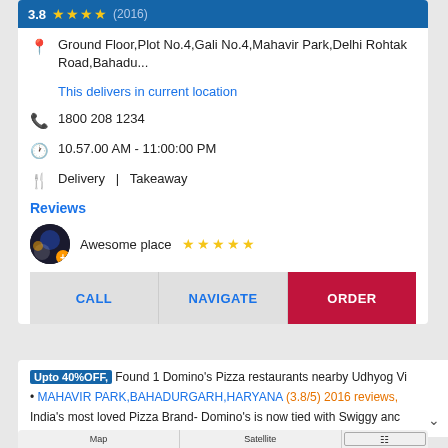[Figure (screenshot): Blue banner showing rating 3.8 with yellow stars and (2016) review count]
Ground Floor,Plot No.4,Gali No.4,Mahavir Park,Delhi Rohtak Road,Bahadu...
This delivers in current location
1800 208 1234
10.57.00 AM - 11:00:00 PM
Delivery  |  Takeaway
Reviews
Awesome place ★★★★★
CALL  NAVIGATE  ORDER
Upto 40%OFF, Found 1 Domino's Pizza restaurants nearby Udhyog Vi
• MAHAVIR PARK,BAHADURGARH,HARYANA (3.8/5) 2016 reviews,
India's most loved Pizza Brand- Domino's is now tied with Swiggy and
[Figure (screenshot): Bottom map section showing tab bar with Map, Satellite options]